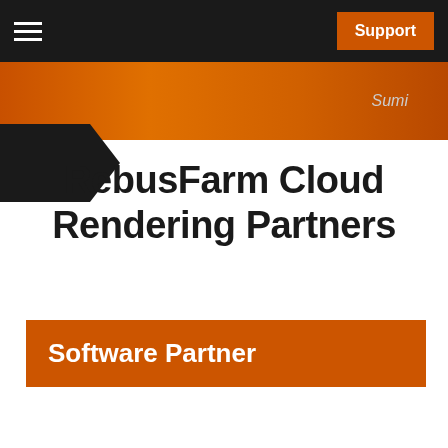Support
Sumi
RebusFarm Cloud Rendering Partners
Software Partner